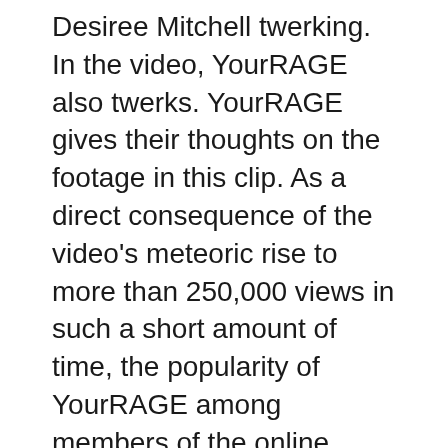Desiree Mitchell twerking. In the video, YourRAGE also twerks. YourRAGE gives their thoughts on the footage in this clip. As a direct consequence of the video's meteoric rise to more than 250,000 views in such a short amount of time, the popularity of YourRAGE among members of the online community saw a tremendous boost. The notoriety of Your Rage has increased as a consequence of the publication of collaboration videos with another YouTube star who goes by the name SoLLUMINATI. This is in addition to all of the factors that have been previously discussed above.
Some of the most popular videos that are currently hosted on Your Rage's YouTube channel include The Rage of PrettyBoyFredo